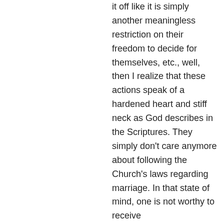it off like it is simply another meaningless restriction on their freedom to decide for themselves, etc., well, then I realize that these actions speak of a hardened heart and stiff neck as God describes in the Scriptures. They simply don't care anymore about following the Church's laws regarding marriage. In that state of mind, one is not worthy to receive